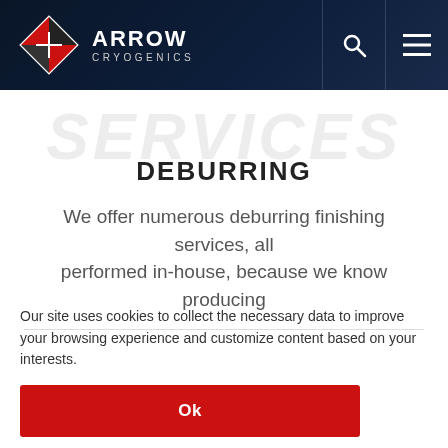[Figure (logo): Arrow Cryogenics logo with diamond shape icon and company name in white on dark navy header, with search and menu icons]
DEBURRING
We offer numerous deburring finishing services, all performed in-house, because we know producing
Our site uses cookies to collect the necessary data to improve your browsing experience and customize content based on your interests.
Ok